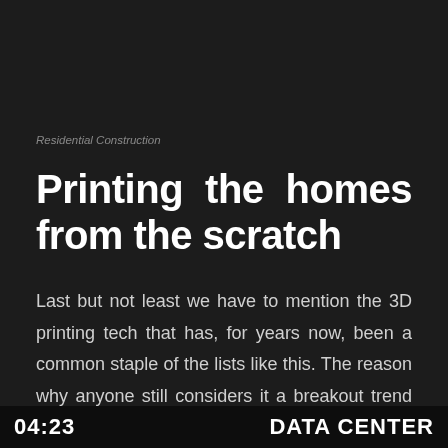Residential Construction
Printing the homes from the scratch
Last but not least we have to mention the 3D printing tech that has, for years now, been a common staple of the lists like this. The reason why anyone still considers it a breakout trend is because 3D printing constantly manages to crawl
04:23   DATA CENTER